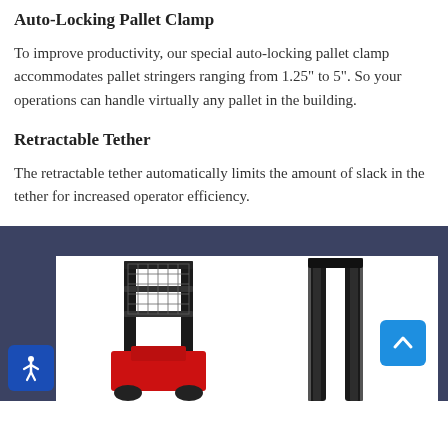Auto-Locking Pallet Clamp
To improve productivity, our special auto-locking pallet clamp accommodates pallet stringers ranging from 1.25" to 5". So your operations can handle virtually any pallet in the building.
Retractable Tether
The retractable tether automatically limits the amount of slack in the tether for increased operator efficiency.
[Figure (photo): Dark blue/navy background section containing two product photos side by side: left photo shows a red forklift with a mast and load backrest guard visible; right photo shows a close-up of a vertical mast/upright component. An accessibility icon button is in the bottom left and a back-to-top arrow button is on the right side.]